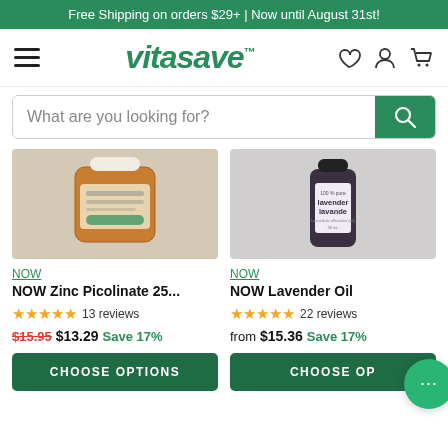Free Shipping on orders $29+ | Now until August 31st!
[Figure (logo): Vitasave logo with hamburger menu and nav icons (heart, person, cart)]
[Figure (screenshot): Search bar with placeholder text 'What are you looking for?' and green search button]
[Figure (photo): NOW Zinc Picolinate product bottle (orange label, partial view)]
[Figure (photo): NOW Lavender Oil product bottle (dark glass bottle with lavender label)]
NOW
NOW Zinc Picolinate 25...
★★★★★ 13 reviews
$15.95  $13.29  Save 17%
NOW
NOW Lavender Oil
★★★★★ 22 reviews
from $15.36  Save 17%